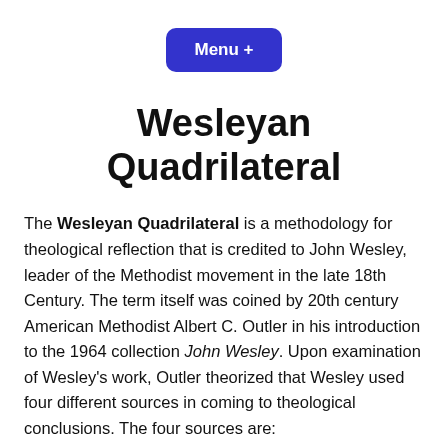[Figure (other): A blue rounded rectangle button labeled 'Menu +']
Wesleyan Quadrilateral
The Wesleyan Quadrilateral is a methodology for theological reflection that is credited to John Wesley, leader of the Methodist movement in the late 18th Century. The term itself was coined by 20th century American Methodist Albert C. Outler in his introduction to the 1964 collection John Wesley. Upon examination of Wesley's work, Outler theorized that Wesley used four different sources in coming to theological conclusions. The four sources are: